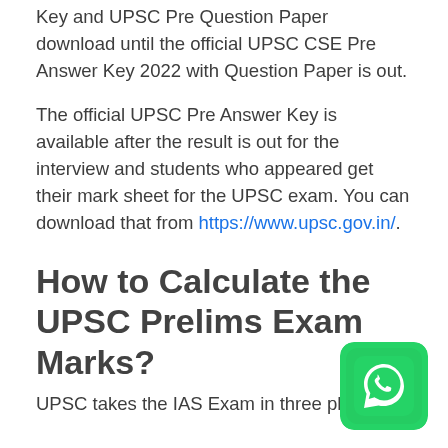Key and UPSC Pre Question Paper download until the official UPSC CSE Pre Answer Key 2022 with Question Paper is out.
The official UPSC Pre Answer Key is available after the result is out for the interview and students who appeared get their mark sheet for the UPSC exam. You can download that from https://www.upsc.gov.in/.
How to Calculate the UPSC Prelims Exam Marks?
UPSC takes the IAS Exam in three phases:
[Figure (logo): WhatsApp icon - teal/green rounded square with white phone handset symbol]